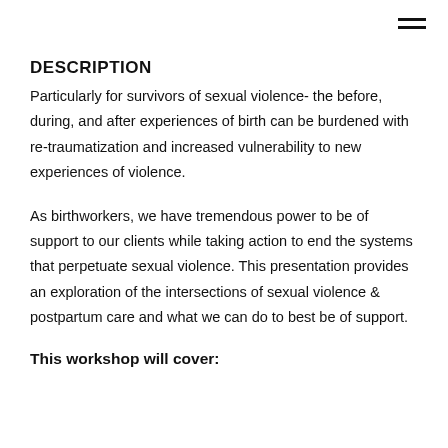DESCRIPTION
Particularly for survivors of sexual violence- the before, during, and after experiences of birth can be burdened with re-traumatization and increased vulnerability to new experiences of violence.
As birthworkers, we have tremendous power to be of support to our clients while taking action to end the systems that perpetuate sexual violence. This presentation provides an exploration of the intersections of sexual violence & postpartum care and what we can do to best be of support.
This workshop will cover: